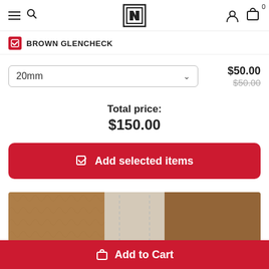Navigation header with hamburger, search, logo, user icon, cart with 0
BROWN GLENCHECK
20mm  $50.00  $50.00
Total price: $150.00
Add selected items
[Figure (photo): Product image showing leather watch straps in brown and beige/grey colors side by side]
Add to Cart